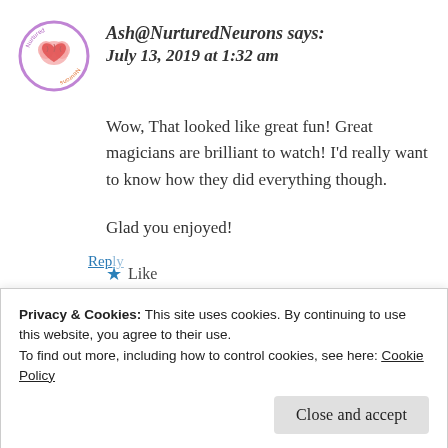[Figure (logo): Nurtured Neurons circular logo with pink/purple border and brain with heart inside]
Ash@NurturedNeurons says:
July 13, 2019 at 1:32 am
Wow, That looked like great fun! Great magicians are brilliant to watch! I'd really want to know how they did everything though.
Glad you enjoyed!
★ Like
Privacy & Cookies: This site uses cookies. By continuing to use this website, you agree to their use.
To find out more, including how to control cookies, see here: Cookie Policy
Close and accept